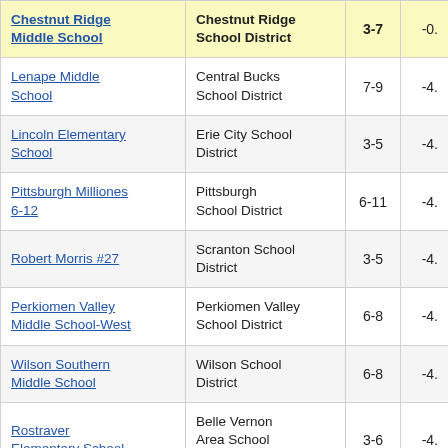| School | District | Grades | Value |
| --- | --- | --- | --- |
| Chestnut Ridge Middle School | Chestnut Ridge School District | 3-7 | -0. |
| Lenape Middle School | Central Bucks School District | 7-9 | -4. |
| Lincoln Elementary School | Erie City School District | 3-5 | -4. |
| Pittsburgh Milliones 6-12 | Pittsburgh School District | 6-11 | -4. |
| Robert Morris #27 | Scranton School District | 3-5 | -4. |
| Perkiomen Valley Middle School-West | Perkiomen Valley School District | 6-8 | -4. |
| Wilson Southern Middle School | Wilson School District | 6-8 | -4. |
| Rostraver Elementary School | Belle Vernon Area School District | 3-6 | -4. |